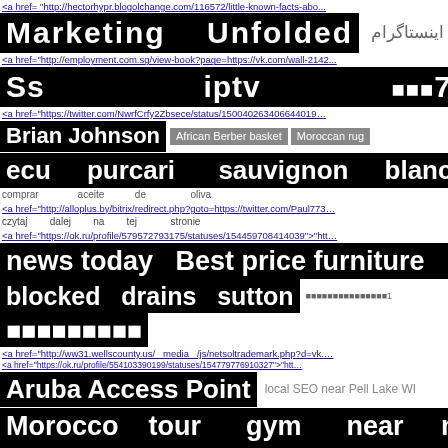<a href="http://hectorhypr.blogolchange.com/116572/little-known-facts-about...
Marketing    Unfolded    لاک    اینستاگرام
<a href="http://employment.com.sg/view-book?page=https://vk.com/wall-2142...
Ss                 iptv              🔲🔲🔲777
<a href="https://twitter.com/NwrfCrfy2Zbsece/status/150040263406644019…
Brian Johnson    African Berber basket    Moroccan rug
ecu    purcari    sauvignon    blanc
comprar                aceite            de                oliva
<a href="http://alloplus.by/bitrix/redirect.php?goto=https://twitter.com/Paul773…
czytaj        dalej        na        tej        stronie
<a href="https://ok.ru/profile/579572793175/statuses/154459708414039">"htt…
news today    Best price furniture
blocked    drains    sutton    🔲🔲🔲🔲🔲🔲🔲🔲🔲🔲🔲🔲🔲🔲🔲1
🔲🔲🔲🔲🔲🔲🔲🔲🔲
<a href="http://ww31.wellscounty.us/   media   /js/netsoltrademark.php?d=vk.…
<a href="https://ok.ru/profile/554103390199/statuses/154779776910327">"htt…
Aruba Access Point    local SEO near Pell Lake WI
Morocco    tour    gym    near    me
Luchthavenvervoer    Oostende    prijs
🔲🔲🔲🔲🔲    🔲🔲🔲    tea tree oil shampoo
<a href="http://trackboc.com/   media   /js/netsoltrademark.php?d=twitter.…